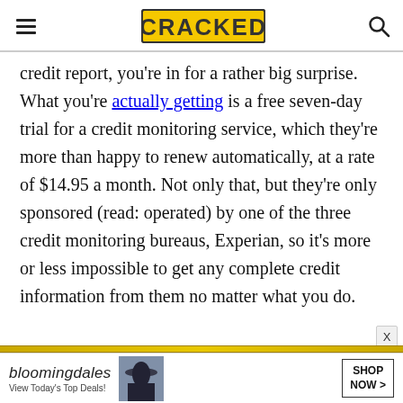CRACKED
credit report, you're in for a rather big surprise. What you're actually getting is a free seven-day trial for a credit monitoring service, which they're more than happy to renew automatically, at a rate of $14.95 a month. Not only that, but they're only sponsored (read: operated) by one of the three credit monitoring bureaus, Experian, so it's more or less impossible to get any complete credit information from them no matter what you do.
[Figure (other): Bloomingdale's advertisement banner with woman in hat and SHOP NOW button]